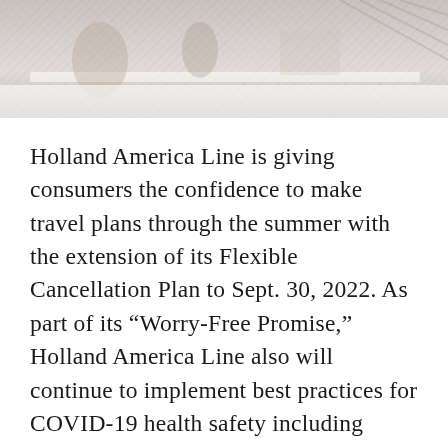[Figure (photo): Partial cropped photo showing decorative items, appears to be a lifestyle/travel image with muted tones]
Holland America Line is giving consumers the confidence to make travel plans through the summer with the extension of its Flexible Cancellation Plan to Sept. 30, 2022. As part of its “Worry-Free Promise,” Holland America Line also will continue to implement best practices for COVID-19 health safety including operating vaccinated cruises and requiring a medically-supervised…    read more of “Holland America…”